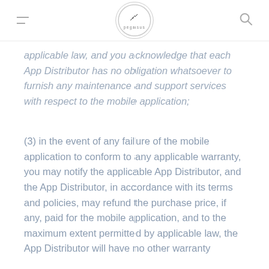Pegasus logo header with menu and search icons
applicable law, and you acknowledge that each App Distributor has no obligation whatsoever to furnish any maintenance and support services with respect to the mobile application;
(3) in the event of any failure of the mobile application to conform to any applicable warranty, you may notify the applicable App Distributor, and the App Distributor, in accordance with its terms and policies, may refund the purchase price, if any, paid for the mobile application, and to the maximum extent permitted by applicable law, the App Distributor will have no other warranty